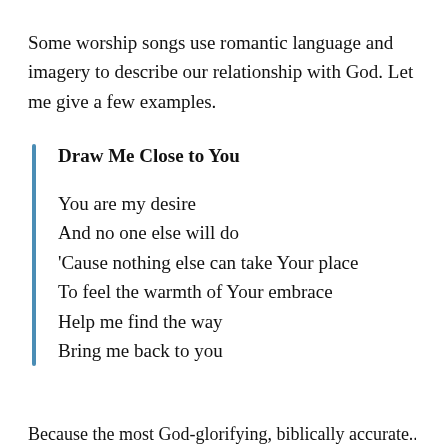Some worship songs use romantic language and imagery to describe our relationship with God. Let me give a few examples.
Draw Me Close to You
You are my desire
And no one else will do
‘Cause nothing else can take Your place
To feel the warmth of Your embrace
Help me find the way
Bring me back to you
Because the most God-glorifying, biblically accurate...